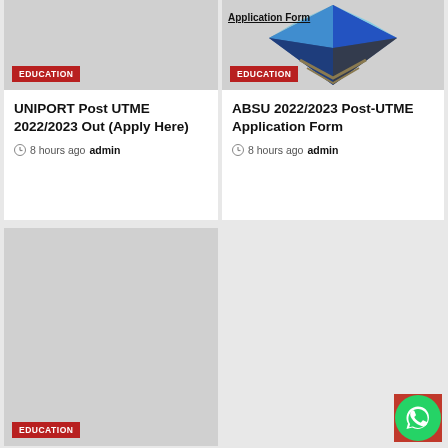[Figure (photo): Gray placeholder image for UNIPORT article with EDUCATION badge]
UNIPORT Post UTME 2022/2023 Out (Apply Here)
8 hours ago  admin
[Figure (photo): ABSU application form graphic with diamond/chevron logo and Application Form text, EDUCATION badge]
ABSU 2022/2023 Post-UTME Application Form
8 hours ago  admin
[Figure (photo): Large gray placeholder image with EDUCATION badge at bottom left]
[Figure (logo): WhatsApp floating button (green circle with phone icon)]